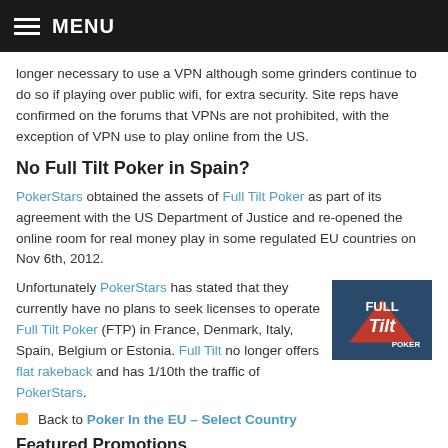MENU
longer necessary to use a VPN although some grinders continue to do so if playing over public wifi, for extra security. Site reps have confirmed on the forums that VPNs are not prohibited, with the exception of VPN use to play online from the US.
No Full Tilt Poker in Spain?
PokerStars obtained the assets of Full Tilt Poker as part of its agreement with the US Department of Justice and re-opened the online room for real money play in some regulated EU countries on Nov 6th, 2012.
Unfortunately PokerStars has stated that they currently have no plans to seek licenses to operate Full Tilt Poker (FTP) in France, Denmark, Italy, Spain, Belgium or Estonia. Full Tilt no longer offers flat rakeback and has 1/10th the traffic of PokerStars.
[Figure (logo): Full Tilt Poker logo on dark blue background with red triangle and white text]
Back to Poker In the EU – Select Country
Featured Promotions
ACR Venom Tournament July 21 – Aug 3rd
New Tournament Schedule on Black Chip Poker